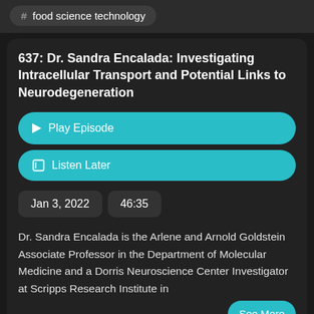# food science technology
637: Dr. Sandra Encalada: Investigating Intracellular Transport and Potential Links to Neurodegeneration
▶ Play Episode
☐ Listen Later
Jan 3, 2022
46:35
Dr. Sandra Encalada is the Arlene and Arnold Goldstein Associate Professor in the Department of Molecular Medicine and a Dorris Neuroscience Center Investigator at Scripps Research Institute in
See More